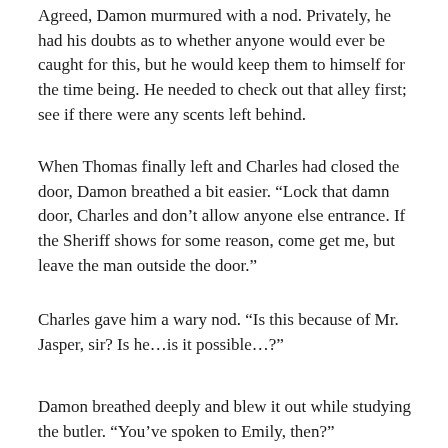Agreed,  Damon murmured with a nod.  Privately, he had his doubts as to whether anyone would ever be caught for this, but he would keep them to himself for the time being.  He needed to check out that alley first; see if there were any scents left behind.
When Thomas finally left and Charles had closed the door, Damon breathed a bit easier.  “Lock that damn door, Charles and don’t allow anyone else entrance.  If the Sheriff shows for some reason, come get me, but leave the man outside the door.”
Charles gave him a wary nod.  “Is this because of Mr. Jasper, sir?  Is he…is it possible…?”
Damon breathed deeply and blew it out while studying the butler.  “You’ve spoken to Emily, then?”